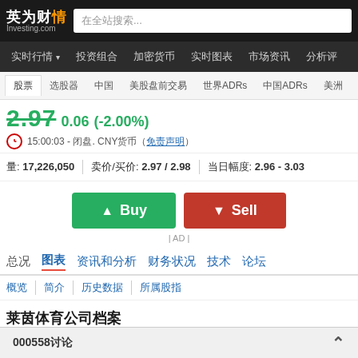英为财情 Investing.com
在全站搜索...
实时行情  投资组合  加密货币  实时图表  市场资讯  分析评
股票  选股器  中国  美股盘前交易  世界ADRs  中国ADRs  美洲
2.97  0.06  (-2.00%)
15:00:03 - 闭盘. CNY货币（免责声明）
量: 17,226,050  |  卖价/买价: 2.97 / 2.98  |  当日幅度: 2.96 - 3.03
[Figure (other): Buy and Sell buttons (green Buy, red Sell)]
| AD |
总况  图表  资讯和分析  财务状况  技术  论坛
概览  简介  历史数据  所属股指
莱茵体育公司档案
000558讨论